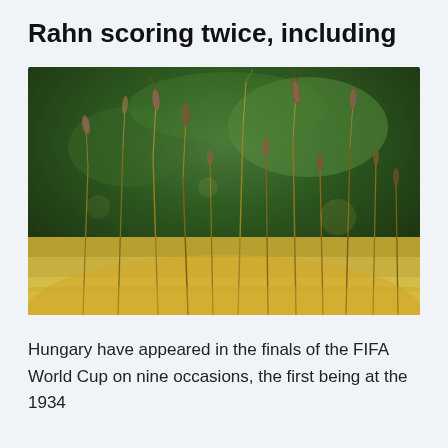Rahn scoring twice, including
[Figure (photo): Close-up photo of wild grass and seed heads with a blurred green background, warm golden and purple tones, soft bokeh effect]
Hungary have appeared in the finals of the FIFA World Cup on nine occasions, the first being at the 1934